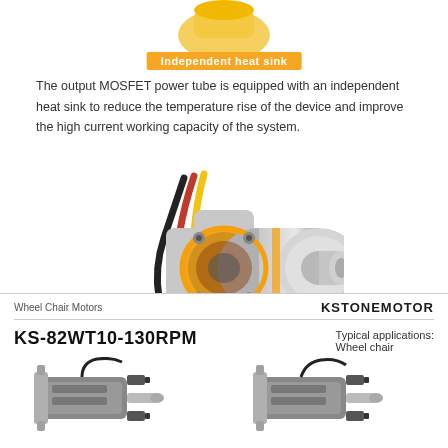[Figure (photo): Top portion of a yellow/gold brushless motor or ESC component, partially visible at top of page]
Independent heat sink
The output MOSFET power tube is equipped with an independent heat sink to reduce the temperature rise of the device and improve the high current working capacity of the system.
[Figure (photo): A brushless outrunner motor with yellow/gold accent ring, silver cylindrical body, mounting plate with four screws, three colored wires (black, red, yellow), and a bullet connector shaft tip]
Wheel Chair Motors
KSTONEMOTOR
KS-82WT10-130RPM
Typical applications: Wheel chair
[Figure (photo): Two wheel chair motors (KS-82WT10-130RPM) shown side by side, silver and black cylindrical motors with mounting brackets and connectors]